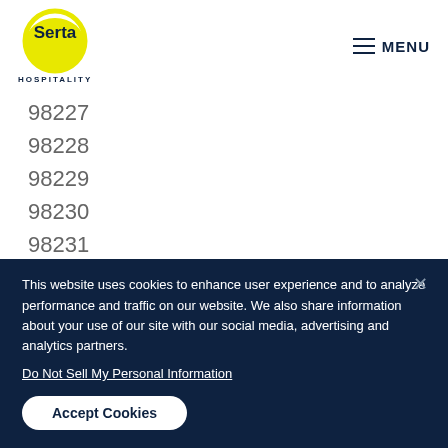[Figure (logo): Serta Hospitality logo: yellow circle with Serta text inside, HOSPITALITY text below]
MENU
98227
98228
98229
98230
98231
98232
This website uses cookies to enhance user experience and to analyze performance and traffic on our website. We also share information about your use of our site with our social media, advertising and analytics partners.
Do Not Sell My Personal Information
Accept Cookies